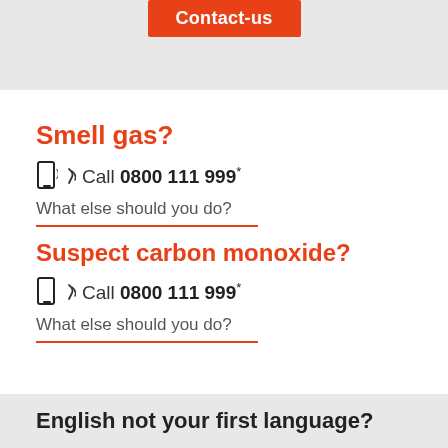[Figure (other): Orange Contact-us button on grey banner background]
Smell gas?
📱 Call 0800 111 999*
What else should you do?
Suspect carbon monoxide?
📱 Call 0800 111 999*
What else should you do?
English not your first language?